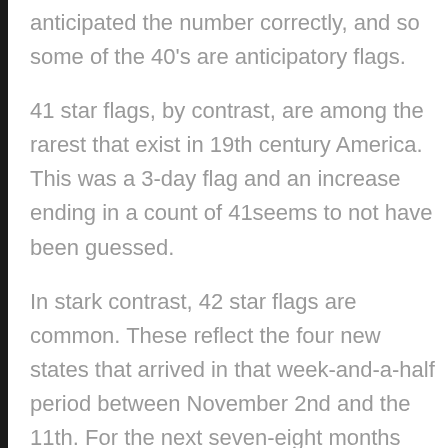anticipated the number correctly, and so some of the 40's are anticipatory flags.
41 star flags, by contrast, are among the rarest that exist in 19th century America. This was a 3-day flag and an increase ending in a count of 41seems to not have been guessed.
In stark contrast, 42 star flags are common. These reflect the four new states that arrived in that week-and-a-half period between November 2nd and the 11th. For the next seven-eight months flag-makers seem to have favored this star count, producing many of them, probably with